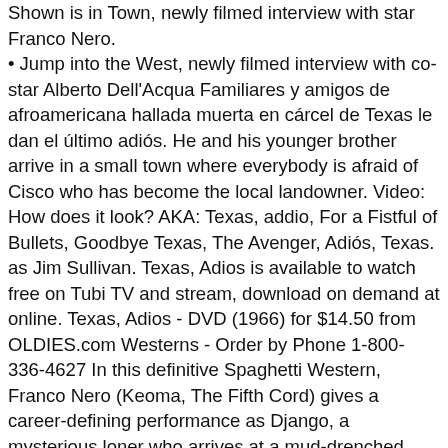Shown is in Town, newly filmed interview with star Franco Nero. • Jump into the West, newly filmed interview with co-star Alberto Dell'Acqua Familiares y amigos de afroamericana hallada muerta en cárcel de Texas le dan el último adiós. He and his younger brother arrive in a small town where everybody is afraid of Cisco who has become the local landowner. Video: How does it look? AKA: Texas, addio, For a Fistful of Bullets, Goodbye Texas, The Avenger, Adiós, Texas. as Jim Sullivan. Texas, Adios is available to watch free on Tubi TV and stream, download on demand at online. Texas, Adios - DVD (1966) for $14.50 from OLDIES.com Westerns - Order by Phone 1-800-336-4627 In this definitive Spaghetti Western, Franco Nero (Keoma, The Fifth Cord) gives a career-defining performance as Django, a mysterious loner who arrives at a mud-drenched ghost town on the Mexico-US border, … He and his younger brother arrive in a small town where everybody is afraid of Cisco who has become the local … The Sullivan brothers head off to Mexico and that's where the story unfolds and quickly becomes one hundred percent spaghetti western. The movie is accompanied with lots of gun-shooting